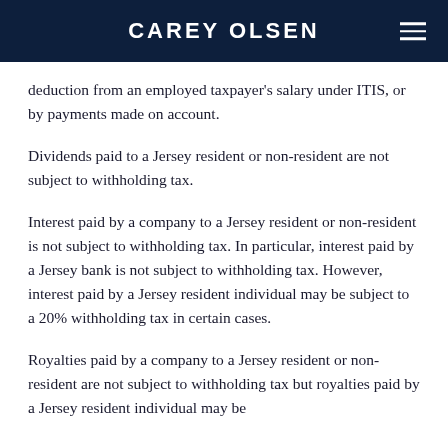CAREY OLSEN
deduction from an employed taxpayer's salary under ITIS, or by payments made on account.
Dividends paid to a Jersey resident or non-resident are not subject to withholding tax.
Interest paid by a company to a Jersey resident or non-resident is not subject to withholding tax. In particular, interest paid by a Jersey bank is not subject to withholding tax. However, interest paid by a Jersey resident individual may be subject to a 20% withholding tax in certain cases.
Royalties paid by a company to a Jersey resident or non-resident are not subject to withholding tax but royalties paid by a Jersey resident individual may be